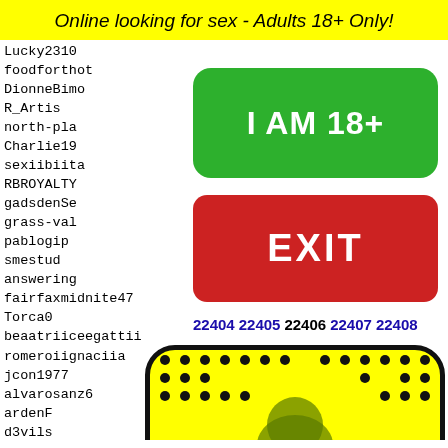Online looking for sex - Adults 18+ Only!
Lucky2310
foodforthot
DionneBimo
R_Artis
north-pla
Charlie19
sexiibiita
RBROYALTY
gadsdenSe
grass-val
pablogip
smestud
answering
fairfaxmidnite47
Torca0
beaatriiceegattii
romeroiignaciia
jcon1977
alvarosanz6
ardenF
d3vils
corala
phoeni
516501
Claypo
[Figure (other): Green button with text I AM 18+]
[Figure (other): Red button with text EXIT]
22404 22405 22406 22407 22408
[Figure (illustration): Snapchat ghost logo on yellow background with black border and dot pattern]